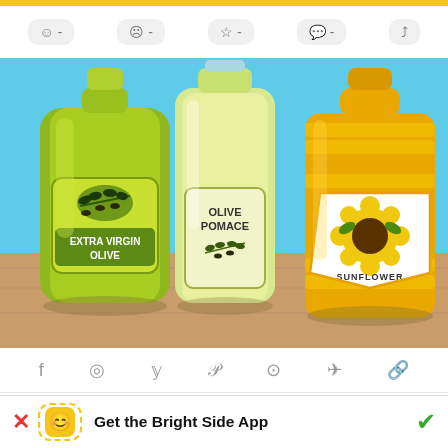[Figure (illustration): Screenshot of a mobile app interface showing three cooking oil bottles: Extra Virgin Olive oil (green bottle), Olive Pomace oil (clear bottle), and Sunflower oil (yellow bottle), on a wooden surface with light blue background.]
When cooking food, it is important to understand that not all oils work in the same way or should be used in the
Get the Bright Side App